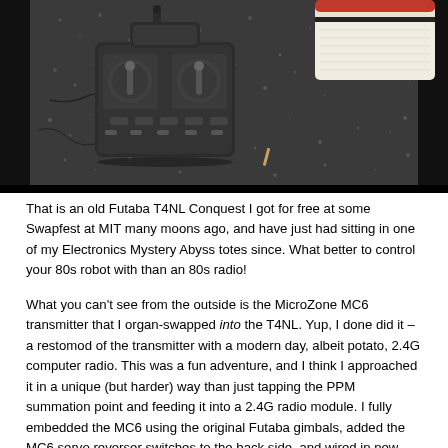[Figure (photo): Overhead photograph of an old Futaba T4NL Conquest RC radio transmitter controller lying on a dark asphalt/gravel surface, with what appears to be a white and red object (possibly a boat or car) partially visible in the upper right.]
That is an old Futaba T4NL Conquest I got for free at some Swapfest at MIT many moons ago, and have just had sitting in one of my Electronics Mystery Abyss totes since. What better to control your 80s robot with than an 80s radio!
What you can't see from the outside is the MicroZone MC6 transmitter that I organ-swapped into the T4NL. Yup, I done did it – a restomod of the transmitter with a modern day, albeit potato, 2.4G computer radio. This was a fun adventure, and I think I approached it in a unique (but harder) way than just tapping the PPM summation point and feeding it into a 2.4G radio module. I fully embedded the MC6 using the original Futaba gimbals, added the MC6 servo reverser switches to the back side, and wired in new switches to turn the 4 channel